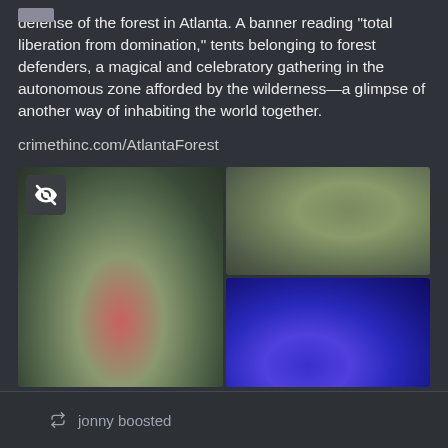defense of the forest in Atlanta. A banner reading "total liberation from domination," tents belonging to forest defenders, a magical and celebratory gathering in the autonomous zone afforded by the wilderness—a glimpse of another way of inhabiting the world together.
crimethinc.com/AtlantaForest
[Figure (photo): A 2x2 grid of blurred/sensitive images. Left image spans full height with gradient from pinkish-red to green/grey. Top-right image shows muted olive/sage green tones. Bottom-right image shows deep blue gradient.]
0
jonny boosted